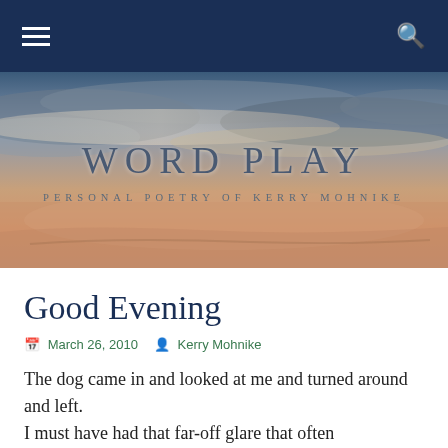WORD PLAY — PERSONAL POETRY OF KERRY MOHNIKE
[Figure (photo): Sky and clouds with airplane wing visible, sunset/dusk colors — used as hero banner background for the blog 'Word Play: Personal Poetry of Kerry Mohnike']
Good Evening
March 26, 2010   Kerry Mohnike
The dog came in and looked at me and turned around and left.
I must have had that far-off glare that often